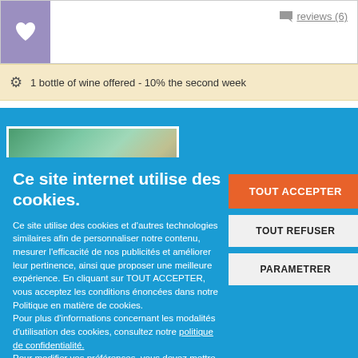[Figure (screenshot): Purple box with white heart icon on left side of card]
reviews (6)
1 bottle of wine offered - 10% the second week
[Figure (photo): Outdoor photo, appears to show a poolside or terrace area with water feature and greenery]
Ce site internet utilise des cookies.
Ce site utilise des cookies et d'autres technologies similaires afin de personnaliser notre contenu, mesurer l'efficacité de nos publicités et améliorer leur pertinence, ainsi que proposer une meilleure expérience. En cliquant sur TOUT ACCEPTER, vous acceptez les conditions énoncées dans notre Politique en matière de cookies.
Pour plus d'informations concernant les modalités d'utilisation des cookies, consultez notre politique de confidentialité.
Pour modifier vos préférences, vous devez mettre paramétrer vos préférences de cookies.
TOUT ACCEPTER
TOUT REFUSER
PARAMETRER